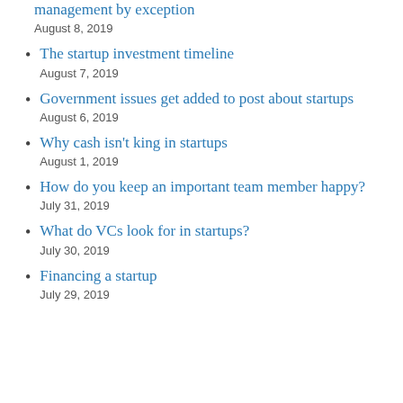management by exception
August 8, 2019
The startup investment timeline
August 7, 2019
Government issues get added to post about startups
August 6, 2019
Why cash isn't king in startups
August 1, 2019
How do you keep an important team member happy?
July 31, 2019
What do VCs look for in startups?
July 30, 2019
Financing a startup
July 29, 2019